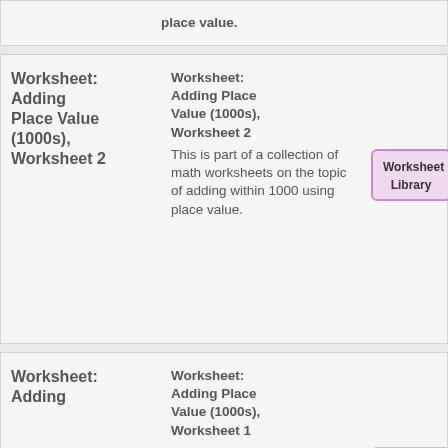place value.
Worksheet: Adding Place Value (1000s), Worksheet 2
Worksheet: Adding Place Value (1000s), Worksheet 2
This is part of a collection of math worksheets on the topic of adding within 1000 using place value.
[Figure (other): Worksheet Library badge button with purple/pink border and background]
Place Value
Worksheet: Adding
Worksheet: Adding Place Value (1000s), Worksheet 1
This is part of a collection of